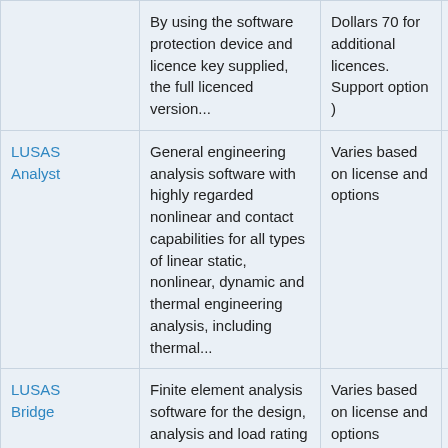| Product | Description | Price | Rating |
| --- | --- | --- | --- |
|  | By using the software protection device and licence key supplied, the full licenced version... | Dollars 70 for additional licences. Support option ) |  |
| LUSAS Analyst | General engineering analysis software with highly regarded nonlinear and contact capabilities for all types of linear static, nonlinear, dynamic and thermal engineering analysis, including thermal... | Varies based on license and options | NOT RATED |
| LUSAS Bridge | Finite element analysis software for the design, analysis and load rating / assessment of bridge... | Varies based on license and options | NOT RATED |